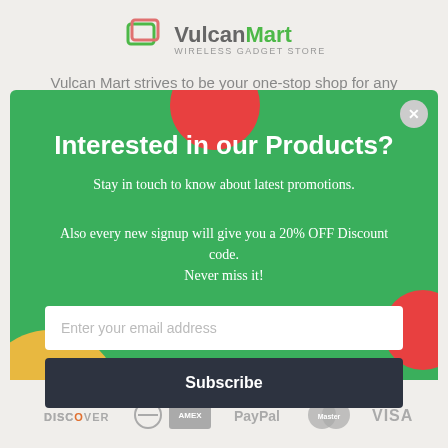[Figure (logo): VulcanMart Wireless Gadget Store logo with teal/green shopping cart icon]
Vulcan Mart strives to be your one-stop shop for any
[Figure (screenshot): Green modal popup with 'Interested in our Products?' heading, subtitle, discount text, email input field and Subscribe button, with decorative red and yellow circles]
[Figure (infographic): Payment logos: Discover, Diners Club, American Express, PayPal, MasterCard, Visa]